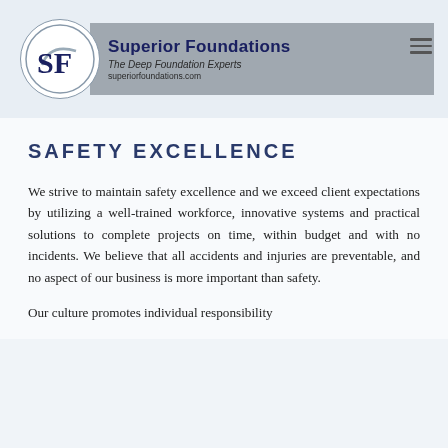[Figure (logo): Superior Foundations logo: circular emblem with SF initials in navy blue with swoosh graphic, next to a gray banner reading 'Superior Foundations - The Deep Foundation Experts - superiorfoundations.com']
SAFETY EXCELLENCE
We strive to maintain safety excellence and we exceed client expectations by utilizing a well-trained workforce, innovative systems and practical solutions to complete projects on time, within budget and with no incidents. We believe that all accidents and injuries are preventable, and no aspect of our business is more important than safety.
Our culture promotes individual responsibility